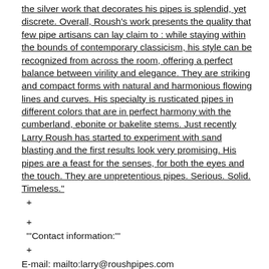the silver work that decorates his pipes is splendid, yet discrete. Overall, Roush's work presents the quality that few pipe artisans can lay claim to : while staying within the bounds of contemporary classicism, his style can be recognized from across the room, offering a perfect balance between virility and elegance. They are striking and compact forms with natural and harmonious flowing lines and curves. His specialty is rusticated pipes in different colors that are in perfect harmony with the cumberland, ebonite or bakelite stems. Just recently Larry Roush has started to experiment with sand blasting and the first results look very promising. His pipes are a feast for the senses, for both the eyes and the touch. They are unpretentious pipes. Serious. Solid. Timeless."
+
+
'''Contact information:'''
+
E-mail: mailto:larry@roushpipes.com